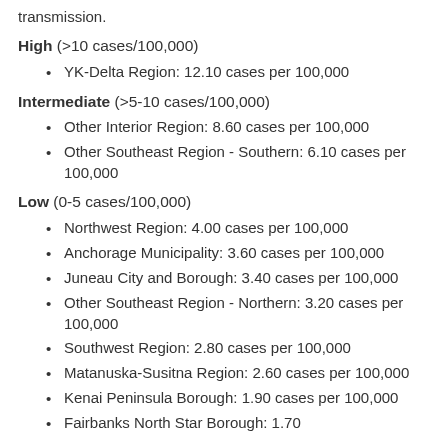transmission.
High (>10 cases/100,000)
YK-Delta Region: 12.10 cases per 100,000
Intermediate (>5-10 cases/100,000)
Other Interior Region: 8.60 cases per 100,000
Other Southeast Region - Southern: 6.10 cases per 100,000
Low (0-5 cases/100,000)
Northwest Region: 4.00 cases per 100,000
Anchorage Municipality: 3.60 cases per 100,000
Juneau City and Borough: 3.40 cases per 100,000
Other Southeast Region - Northern: 3.20 cases per 100,000
Southwest Region: 2.80 cases per 100,000
Matanuska-Susitna Region: 2.60 cases per 100,000
Kenai Peninsula Borough: 1.90 cases per 100,000
Fairbanks North Star Borough: 1.70...